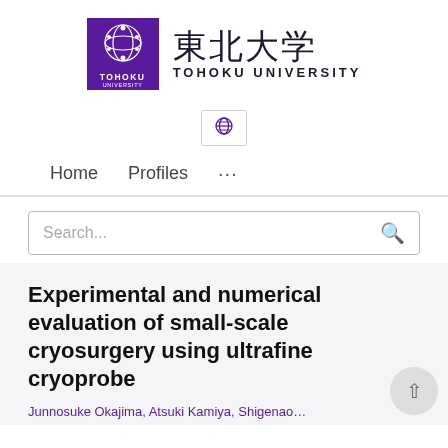[Figure (logo): Tohoku University logo: purple square with circular emblem and text TOHOKU UNIVERSITY in white, next to kanji 東北大学 and TOHOKU UNIVERSITY in dark text]
[Figure (other): Globe/language icon button]
Home    Profiles    ...
Search...
Experimental and numerical evaluation of small-scale cryosurgery using ultrafine cryoprobe
Junnosuke Okajima, Atsuki Kamiya, Shigenao...